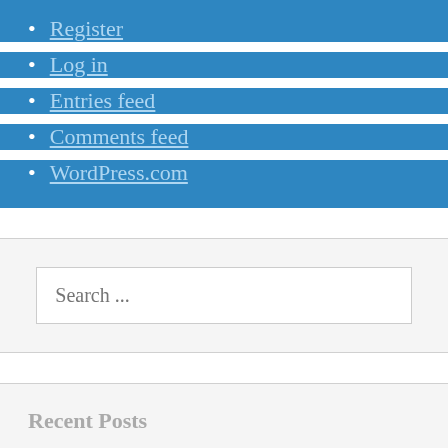Register
Log in
Entries feed
Comments feed
WordPress.com
Search ...
Recent Posts